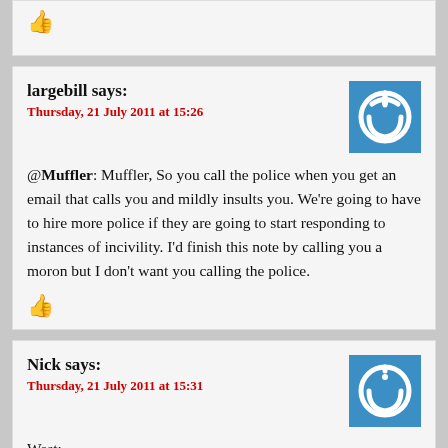[thumbs up icon - partial comment]
largebill says:
Thursday, 21 July 2011 at 15:26
@Muffler: Muffler, So you call the police when you get an email that calls you and mildly insults you. We're going to have to hire more police if they are going to start responding to instances of incivility. I'd finish this note by calling you a moron but I don't want you calling the police.
Nick says:
Thursday, 21 July 2011 at 15:31
West:
“I grew up in the inner city, strong values, came from a